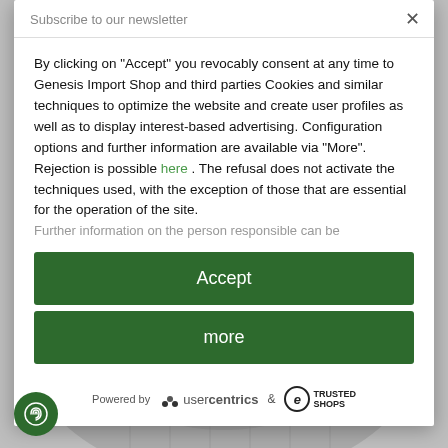[Figure (photo): Background photo showing a person wearing a grey quilted jacket, partially visible behind the modal dialog]
Subscribe to our newsletter
×
By clicking on "Accept" you revocably consent at any time to Genesis Import Shop and third parties Cookies and similar techniques to optimize the website and create user profiles as well as to display interest-based advertising. Configuration options and further information are available via "More". Rejection is possible here . The refusal does not activate the techniques used, with the exception of those that are essential for the operation of the site. Further information on the person responsible can be
Accept
more
Powered by usercentrics & TRUSTED SHOPS